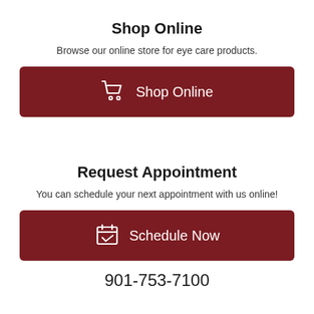Shop Online
Browse our online store for eye care products.
[Figure (infographic): Dark red button with shopping cart icon and text 'Shop Online']
Request Appointment
You can schedule your next appointment with us online!
[Figure (infographic): Dark red button with calendar/checkmark icon and text 'Schedule Now']
901-753-7100